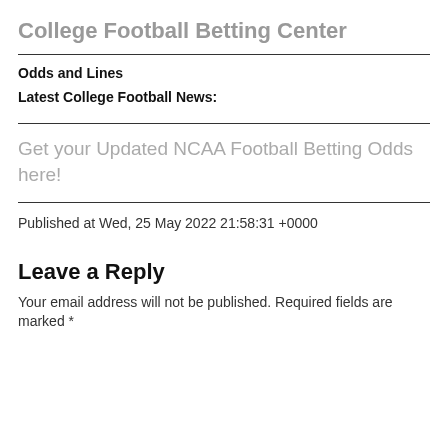College Football Betting Center
Odds and Lines
Latest College Football News:
Get your Updated NCAA Football Betting Odds here!
Published at Wed, 25 May 2022 21:58:31 +0000
Leave a Reply
Your email address will not be published. Required fields are marked *